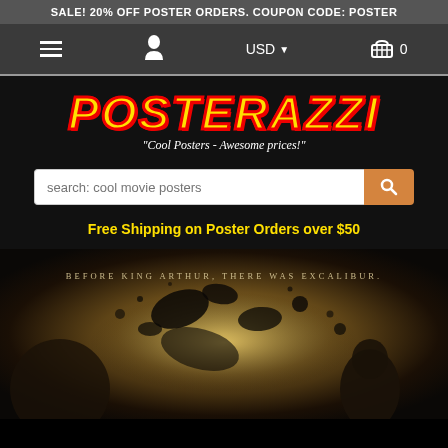SALE! 20% OFF POSTER ORDERS. COUPON CODE: POSTER
[Figure (screenshot): Navigation bar with hamburger menu, user icon, USD currency selector, and shopping cart with 0 items]
[Figure (logo): Posterazzi logo in yellow italic bold text with red outline on black background, with tagline 'Cool Posters - Awesome prices!']
"Cool Posters - Awesome prices!"
search: cool movie posters
Free Shipping on Poster Orders over $50
[Figure (photo): Movie poster image showing 'BEFORE KING ARTHUR, THERE WAS EXCALIBUR.' text over a dark atmospheric battle scene with splattered ink effect and soldiers in silhouette]